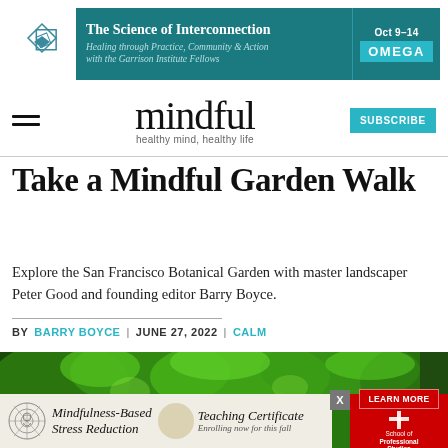[Figure (other): Banner advertisement for Omega Institute event 'The Science of Interconnection' Oct 9-14, with teal background and diamond logo]
mindful — healthy mind, healthy life — with hamburger menu and SUBSCRIBE button
Take a Mindful Garden Walk
Explore the San Francisco Botanical Garden with master landscaper Peter Good and founding editor Barry Boyce.
BY BARRY BOYCE | JUNE 27, 2022 | CALM
[Figure (photo): Lush green garden photo from San Francisco Botanical Garden]
[Figure (other): Advertisement for Mindfulness-Based Stress Reduction Teaching Certificate, enrolling now for this fall, with School of Professional Studies logo and LEARN MORE button]